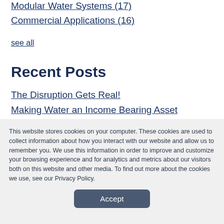Modular Water Systems (17)
Commercial Applications (16)
see all
Recent Posts
The Disruption Gets Real!
Making Water an Income Bearing Asset
How We Can Revolution...
This website stores cookies on your computer. These cookies are used to collect information about how you interact with our website and allow us to remember you. We use this information in order to improve and customize your browsing experience and for analytics and metrics about our visitors both on this website and other media. To find out more about the cookies we use, see our Privacy Policy.